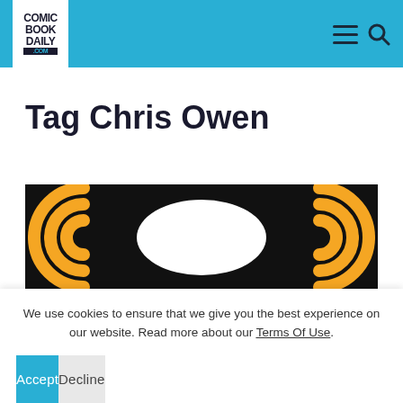Comic Book Daily .com — navigation header with menu and search icons
Tag Chris Owen
[Figure (illustration): Black background image with orange concentric arc waves (WiFi/signal style) on both left and right sides, with a white oval/speech bubble shape in the center.]
We use cookies to ensure that we give you the best experience on our website. Read more about our Terms Of Use.
Accept | Decline